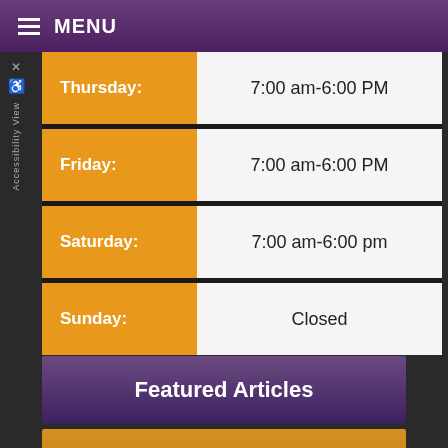MENU
| Day | Hours |
| --- | --- |
| Thursday: | 7:00 am-6:00 PM |
| Friday: | 7:00 am-6:00 PM |
| Saturday: | 7:00 am-6:00 pm |
| Sunday: | Closed |
Featured Articles
Testimonials